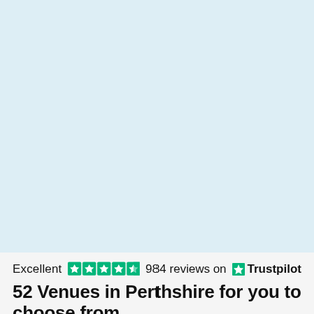[Figure (screenshot): Light blue background area occupying the upper portion of the page]
Excellent ★★★★★ 984 reviews on ★ Trustpilot
52 Venues in Perthshire for you to choose from